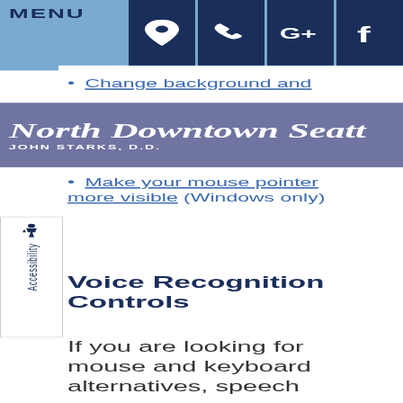MENU
[Figure (screenshot): Social media/contact icon buttons: location pin, phone, Google+, Facebook on dark navy background]
North Downtown Seattle
JOHN STARKS, D.D.
Change background and
Make your mouse pointer more visible (Windows only)
[Figure (other): Accessibility tab with wheelchair icon and vertical Accessibility label]
Voice Recognition Controls
If you are looking for mouse and keyboard alternatives, speech